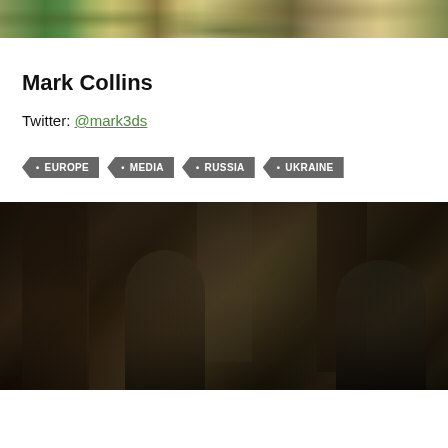[Figure (photo): Banner photo of a cityscape with trees and buildings, appearing to be an Eastern European city]
Mark Collins
Twitter: @mark3ds
EUROPE
MEDIA
RUSSIA
UKRAINE
[Figure (photo): Dark interior photo of two people crouching in a hallway, appearing to hold weapons, with doors visible in the background]